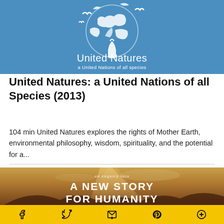[Figure (logo): United Natures logo banner: blue background with white silhouette illustration of figures/birds/earth, text 'United Natures' and 'a United Nations of all species']
United Natures: a United Nations of all Species (2013)
104 min United Natures explores the rights of Mother Earth, environmental philosophy, wisdom, spirituality, and the potential for a...
[Figure (photo): Dramatic mountain landscape with golden light rays through clouds, text overlay: 'an enquiry into A NEW STORY FOR HUMANITY']
Social share toolbar with Facebook, Twitter, email, Pinterest, and more icons